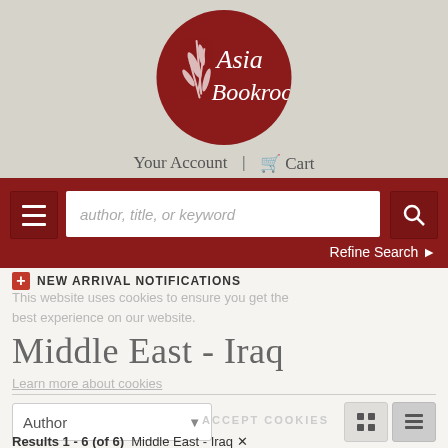[Figure (logo): Asia Bookroom circular logo with dark red background, white bamboo/leaf illustration on left, and 'Asia Bookroom' in italic serif font on right]
Your Account  |  Cart
author, title, or keyword (search field)
Refine Search
NEW ARRIVAL NOTIFICATIONS
This website uses cookies to ensure you get the best experience on our website.
Middle East - Iraq
Learn more about cookies
ACCEPT COOKIES
Author
Results 1 - 6 (of 6)  Middle East - Iraq